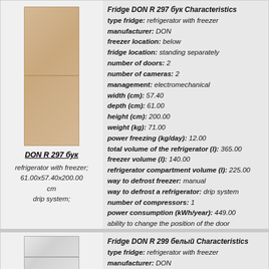[Figure (photo): Beige/wood-colored refrigerator DON R 297 бук with two compartments]
DON R 297 бук
refrigerator with freezer; 61.00x57.40x200.00 cm
drip system;
Fridge DON R 297 бук Characteristics
type fridge: refrigerator with freezer
manufacturer: DON
freezer location: below
fridge location: standing separately
number of doors: 2
number of cameras: 2
management: electromechanical
width (cm): 57.40
depth (cm): 61.00
height (cm): 200.00
weight (kg): 71.00
power freezing (kg/day): 12.00
total volume of the refrigerator (l): 365.00
freezer volume (l): 140.00
refrigerator compartment volume (l): 225.00
way to defrost freezer: manual
way to defrost a refrigerator: drip system
number of compressors: 1
power consumption (kWh/year): 449.00
ability to change the position of the door
more information
[Figure (photo): White refrigerator DON R 299 белый]
Fridge DON R 299 белый Characteristics
type fridge: refrigerator with freezer
manufacturer: DON
freezer location: below
fridge location: standing separately
number of doors: 2
number of cameras: 2
management: electromechanical
width (cm): 57.40